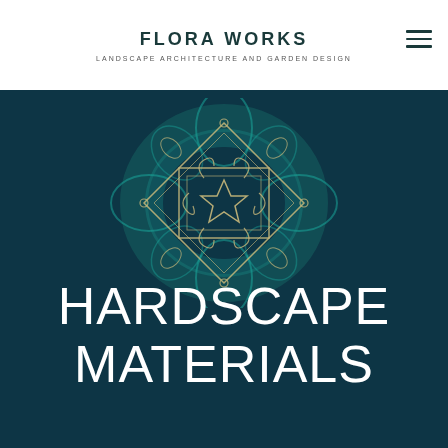FLORA WORKS — LANDSCAPE ARCHITECTURE AND GARDEN DESIGN
[Figure (illustration): Decorative mandala-style ornamental pattern in teal and gold tones on dark teal background]
HARDSCAPE MATERIALS